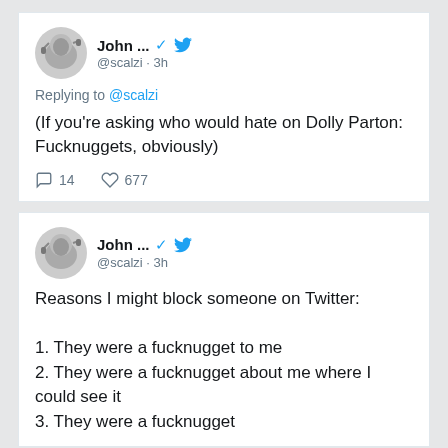[Figure (screenshot): Twitter avatar for @scalzi — illustrated cat with headphone]
John ... @scalzi · 3h
Replying to @scalzi
(If you're asking who would hate on Dolly Parton: Fucknuggets, obviously)
14  677
[Figure (screenshot): Twitter avatar for @scalzi — illustrated cat with headphone]
John ... @scalzi · 3h
Reasons I might block someone on Twitter:

1. They were a fucknugget to me
2. They were a fucknugget about me where I could see it
3. They were a fucknugget